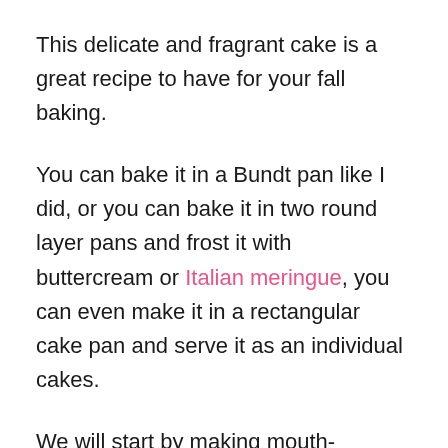This delicate and fragrant cake is a great recipe to have for your fall baking.
You can bake it in a Bundt pan like I did, or you can bake it in two round layer pans and frost it with buttercream or Italian meringue, you can even make it in a rectangular cake pan and serve it as an individual cakes.
We will start by making mouth-watering salty caramel which we'll use for our cake batter and for decorating the cake.